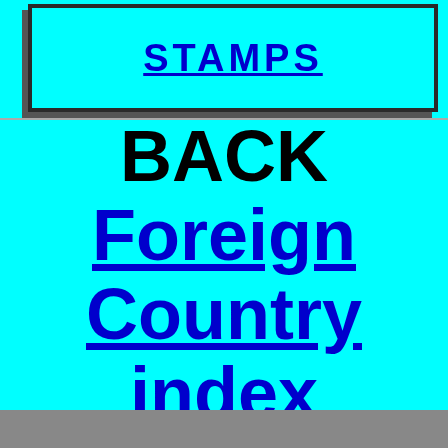STAMPS
BACK Foreign Country index